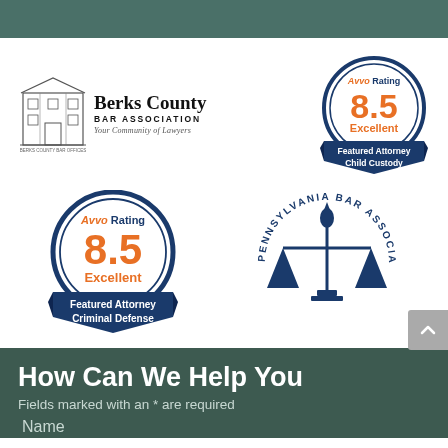[Figure (logo): Berks County Bar Association logo with building illustration and text 'Berks County BAR ASSOCIATION Your Community of Lawyers']
[Figure (logo): Avvo Rating 8.5 Excellent - Featured Attorney Child Custody badge (dark blue circle with orange rating)]
[Figure (logo): Avvo Rating 8.5 Excellent - Featured Attorney Criminal Defense badge (dark blue circle with orange rating)]
[Figure (logo): Pennsylvania Bar Association logo with scales of justice]
How Can We Help You
Fields marked with an * are required
Name